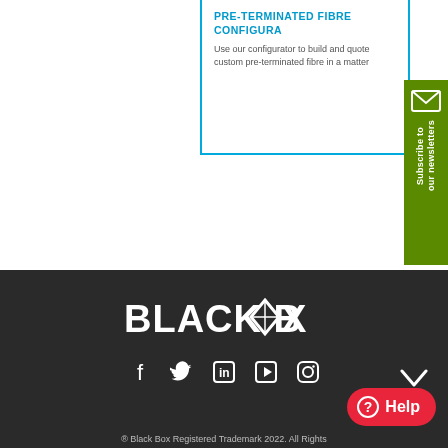PRE-TERMINATED FIBRE CONFIGURA
Use our configurator to build and quote custom pre-terminated fibre in a matter
[Figure (illustration): Green newsletter subscription tab with envelope icon and rotated text 'Subscribe to our newsletters']
[Figure (logo): Black Box logo in white on dark background with diamond icon between BOX words]
[Figure (illustration): Social media icons row: Facebook, Twitter, LinkedIn, YouTube play button, Instagram]
[Figure (illustration): Red Help button with question mark circle icon]
® Black Box Registered Trademark 2022. All Rights